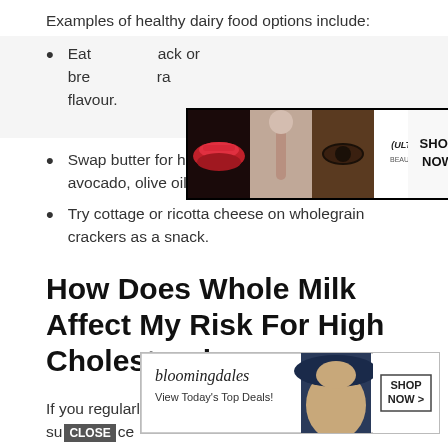Examples of healthy dairy food options include:
Eat [ad obscured] snack or breakfast [ad obscured] extra flavour.
[Figure (photo): Ulta Beauty advertisement banner showing makeup/cosmetic imagery with SHOP NOW button]
Swap butter for healthier alternatives, such as avocado, olive oil, or oil spreads.
Try cottage or ricotta cheese on wholegrain crackers as a snack.
How Does Whole Milk Affect My Risk For High Cholesterol
If you regularly eat whole-milk dairy products, su[CLOSE]ce cream, [ad] butter, chance [ad] ed fat
[Figure (photo): Bloomingdale's advertisement banner with 'View Today's Top Deals!' tagline, woman with hat, SHOP NOW button, and CLOSE button]